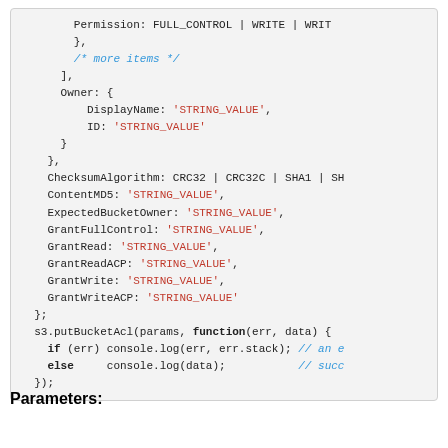Code block showing putBucketAcl params with Permission, Owner, ChecksumAlgorithm, ContentMD5, ExpectedBucketOwner, GrantFullControl, GrantRead, GrantReadACP, GrantWrite, GrantWriteACP fields and s3.putBucketAcl callback.
Parameters: